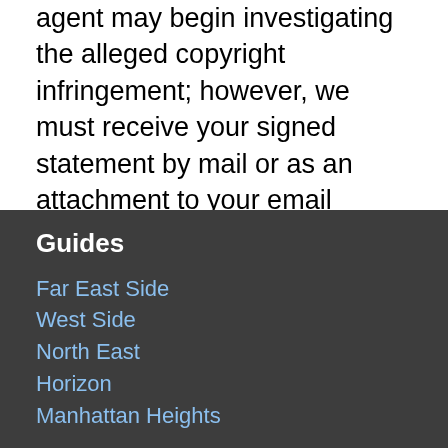agent may begin investigating the alleged copyright infringement; however, we must receive your signed statement by mail or as an attachment to your email before we are required to take any action.
This information should not be construed as legal advice. We recommend you seek independent legal counsel before filing a notification or counternotification. For further information about the DMCA, please visit the website of the United States Copyright Office at: http://www.copyright.gov/onlinesp.
Guides
Far East Side
West Side
North East
Horizon
Manhattan Heights